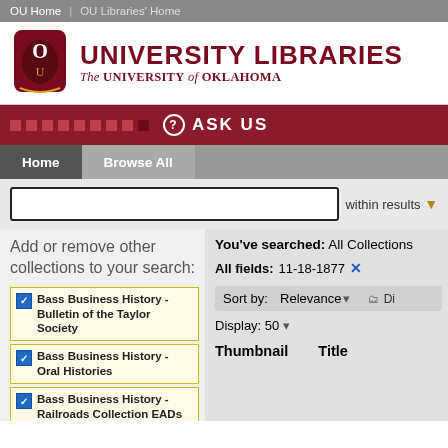OU Home | OU Libraries' Home
[Figure (logo): University of Oklahoma Libraries logo with OU shield icon and text 'UNIVERSITY LIBRARIES The University of Oklahoma']
ASK US
Home | Browse All
within results
Add or remove other collections to your search:
Bass Business History - Bulletin of the Taylor Society
Bass Business History - Oral Histories
Bass Business History - Railroads Collection EADs
Bass Business History - Robert Kahn's Retailing Today
Bass Business History - Western
You've searched: All Collections
All fields: 11-18-1877 ×
Sort by: Relevance ▾
Display: 50 ▾
Thumbnail    Title